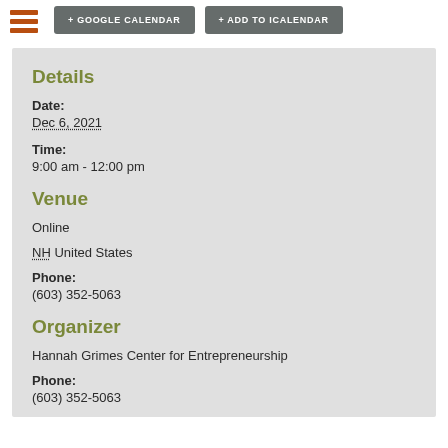[Figure (other): Hamburger menu icon with three horizontal brown/red lines]
+ GOOGLE CALENDAR
+ ADD TO ICALENDAR
Details
Date:
Dec 6, 2021
Time:
9:00 am - 12:00 pm
Venue
Online
NH United States
Phone:
(603) 352-5063
Organizer
Hannah Grimes Center for Entrepreneurship
Phone:
(603) 352-5063